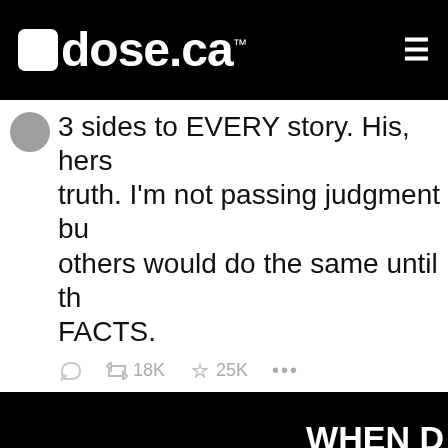dose.ca
3 sides to EVERY story. His, hers truth. I'm not passing judgment bu others would do the same until th FACTS.
18K retweets  25K likes
[Figure (screenshot): Black background image with white bold text reading 'WHEN [cut off] OUT UR [cut off]']